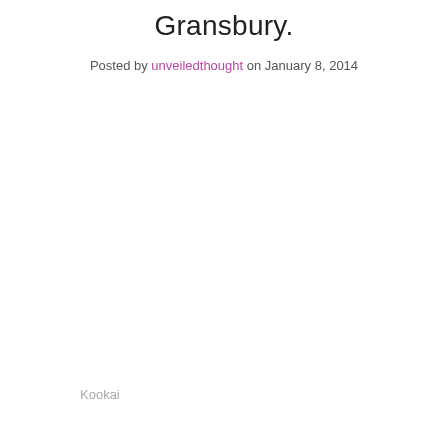Gransbury.
Posted by unveiledthought on January 8, 2014
Kookai